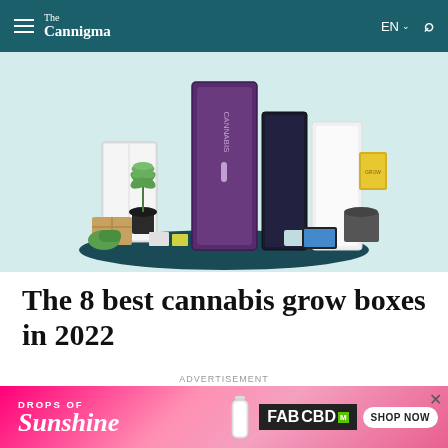The Cannigma
[Figure (photo): Hero image showing cannabis grow boxes and equipment on a teal/mint background, including a tall purple grow cabinet, grow tent, cannabis plant, and various gardening accessories arranged on a dark oval platform]
The 8 best cannabis grow boxes in 2022
by Ben Hartman
ADVERTISEMENT
[Figure (other): FABCBD advertisement banner with pink gradient background, 'DROPS OF Sunshine' text on left and 'FABCBD SHOP NOW' button on right]